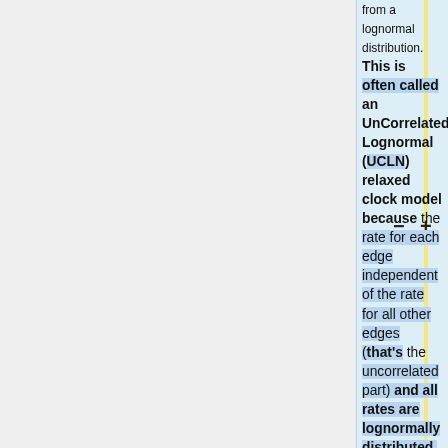[Figure (schematic): Interface with vertical yellow line, blue highlighted text column on right, minus and plus symbols in center, and gray background on left]
from a lognormal distribution. This is often called an UnCorrelated Lognormal (UCLN) relaxed clock model because the rate for each edge independent of the rate for all other edges (that's the uncorrelated part) and all rates are lognormally distributed. This is to distinguish this approach from